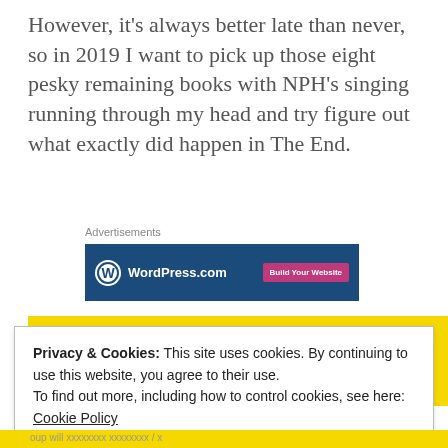However, it's always better late than never, so in 2019 I want to pick up those eight pesky remaining books with NPH's singing running through my head and try figure out what exactly did happen in The End.
Advertisements
[Figure (screenshot): WordPress.com advertisement banner with blue background, WordPress logo on left and 'Build Your Website' pink button on right]
[Figure (screenshot): Yellow banner with italic bold text 'I'll Be There For You']
Privacy & Cookies: This site uses cookies. By continuing to use this website, you agree to their use.
To find out more, including how to control cookies, see here: Cookie Policy
Close and accept